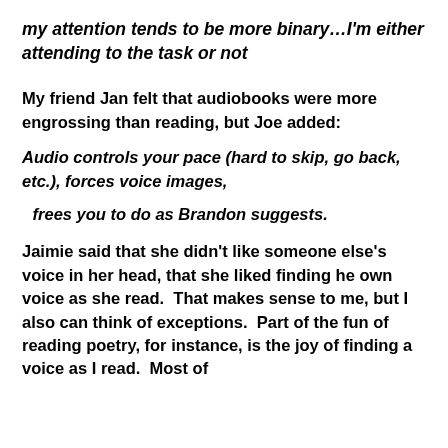my attention tends to be more binary…I'm either attending to the task or not
My friend Jan felt that audiobooks were more engrossing than reading, but Joe added:
Audio controls your pace (hard to skip, go back, etc.), forces voice images,
frees you to do as Brandon suggests.
Jaimie said that she didn't like someone else's voice in her head, that she liked finding he own voice as she read.  That makes sense to me, but I also can think of exceptions.  Part of the fun of reading poetry, for instance, is the joy of finding a voice as I read.  Most of